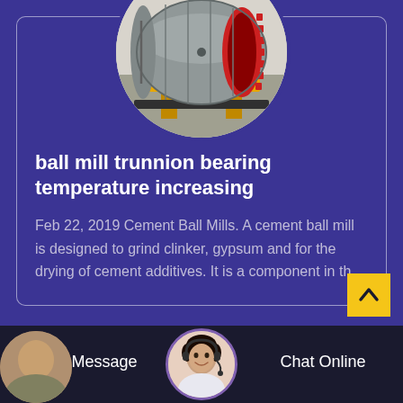[Figure (photo): Circular cropped photo of an industrial ball mill machine — a large cylindrical grey metal drum with red gear ring, mounted on yellow supports inside a warehouse.]
ball mill trunnion bearing temperature increasing
Feb 22, 2019 Cement Ball Mills. A cement ball mill is designed to grind clinker, gypsum and for the drying of cement additives. It is a component in th...
[Figure (photo): Circular avatar of a female customer service representative wearing a headset, smiling.]
Leave Message
Chat Online